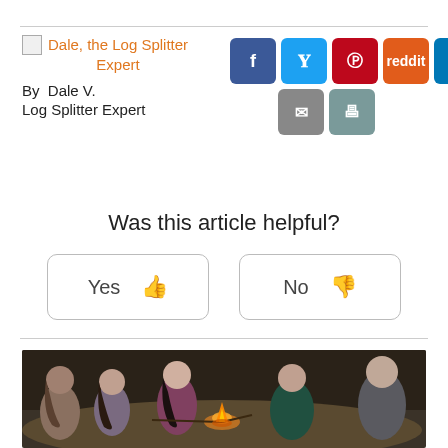Dale, the Log Splitter Expert
By  Dale V.
Log Splitter Expert
Was this article helpful?
Yes
No
[Figure (photo): Group of young people sitting around a campfire outdoors roasting marshmallows on sticks]